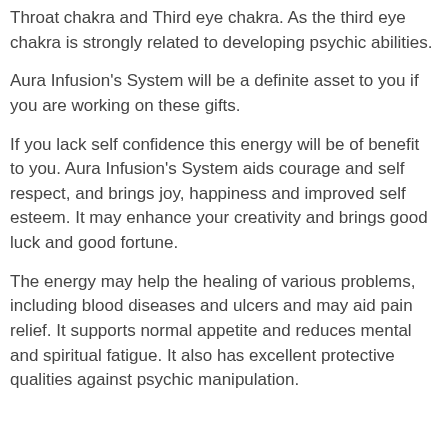Throat chakra and Third eye chakra. As the third eye chakra is strongly related to developing psychic abilities.
Aura Infusion's System will be a definite asset to you if you are working on these gifts.
If you lack self confidence this energy will be of benefit to you. Aura Infusion's System aids courage and self respect, and brings joy, happiness and improved self esteem. It may enhance your creativity and brings good luck and good fortune.
The energy may help the healing of various problems, including blood diseases and ulcers and may aid pain relief. It supports normal appetite and reduces mental and spiritual fatigue. It also has excellent protective qualities against psychic manipulation.